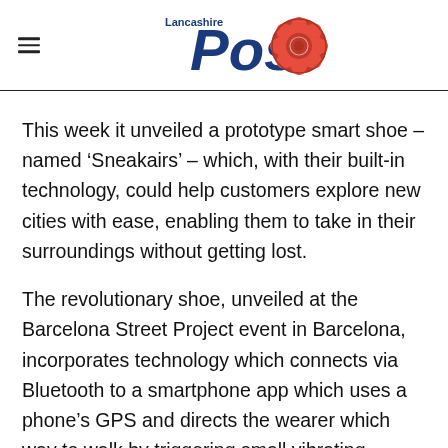Lancashire Post
This week it unveiled a prototype smart shoe – named ‘Sneakairs’ – which, with their built-in technology, could help customers explore new cities with ease, enabling them to take in their surroundings without getting lost.
The revolutionary shoe, unveiled at the Barcelona Street Project event in Barcelona, incorporates technology which connects via Bluetooth to a smartphone app which uses a phone’s GPS and directs the wearer which way to walk by triggering small vibrating sensors